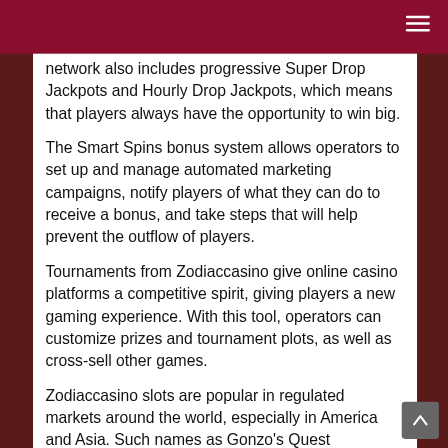network also includes progressive Super Drop Jackpots and Hourly Drop Jackpots, which means that players always have the opportunity to win big.
The Smart Spins bonus system allows operators to set up and manage automated marketing campaigns, notify players of what they can do to receive a bonus, and take steps that will help prevent the outflow of players.
Tournaments from Zodiaccasino give online casino platforms a competitive spirit, giving players a new gaming experience. With this tool, operators can customize prizes and tournament plots, as well as cross-sell other games.
Zodiaccasino slots are popular in regulated markets around the world, especially in America and Asia. Such names as Gonzo's Quest Megaways, Dragon's Luck Power Reels, Thor's Vengeance, Golden Lotus,